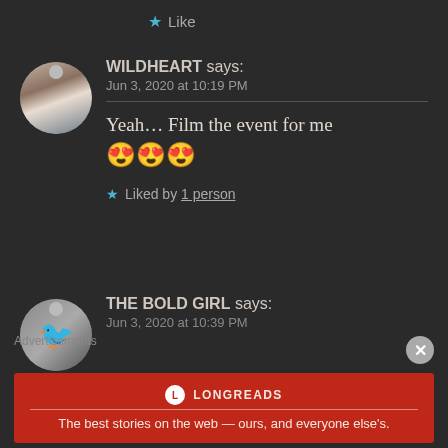★ Like
WILDHEART says:
Jun 3, 2020 at 10:19 PM
Yeah… Film the event for me 😍😍😍
★ Liked by 1 person
THE BOLD GIRL says:
Jun 3, 2020 at 10:39 PM
Advertisements
[Figure (logo): Longreads advertisement banner: The best stories on the web — ours, and everyone else's.]